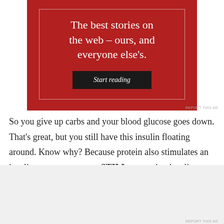[Figure (other): Red advertisement banner with white text reading 'The best stories on the web – ours, and everyone else's.' and a dark 'Start reading' button, with an inner white border outline.]
So you give up carbs and your blood glucose goes down. That's great, but you still have this insulin floating around. Know why? Because protein also stimulates an insulin response, you are STILL promoting insulin resistance.
Advertisements